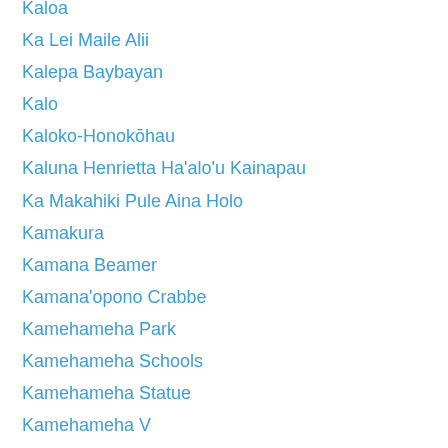Kaloa
Ka Lei Maile Alii
Kalepa Baybayan
Kalo
Kaloko-Honokōhau
Kaluna Henrietta Ha'alo'u Kainapau
Ka Makahiki Pule Aina Holo
Kamakura
Kamana Beamer
Kamana'opono Crabbe
Kamehameha Park
Kamehameha Schools
Kamehameha Statue
Kamehameha V
Kamiki
Kamo`oalewa
Kanaka'ole
Kanak'ole
Kanani Kaulu Kukui
Kane
Kane'ohe